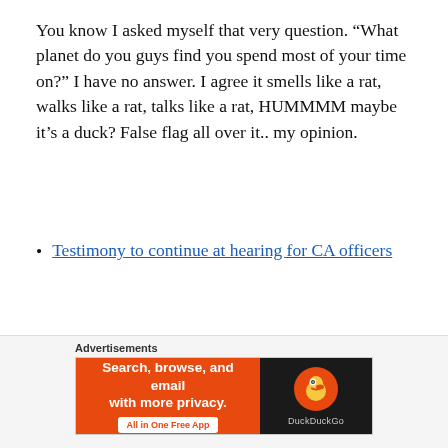You know I asked myself that very question. “What planet do you guys find you spend most of your time on?” I have no answer. I agree it smells like a rat, walks like a rat, talks like a rat, HUMMMM maybe it’s a duck? False flag all over it.. my opinion.
Testimony to continue at hearing for CA officers
A video shows Officer Manuel Ramos and another officer swing at a shirtless Kell...
[Figure (screenshot): DuckDuckGo advertisement banner with orange background on the left showing 'Search, browse, and email with more privacy. All in One Free App' and dark background on the right with DuckDuckGo logo]